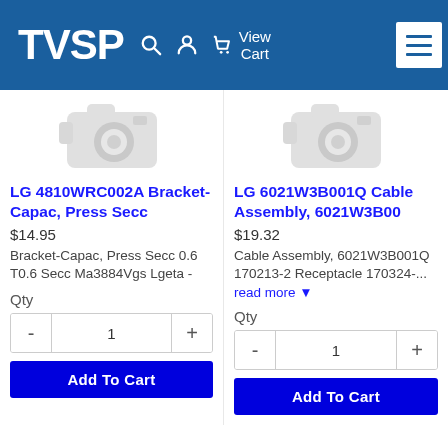TVSP View Cart
[Figure (illustration): Grey camera placeholder icon for product 1]
LG 4810WRC002A Bracket-Capac, Press Secc
$14.95
Bracket-Capac, Press Secc 0.6 T0.6 Secc Ma3884Vgs Lgeta -
Qty
- 1 +
Add To Cart
[Figure (illustration): Grey camera placeholder icon for product 2]
LG 6021W3B001Q Cable Assembly, 6021W3B00
$19.32
Cable Assembly, 6021W3B001Q 170213-2 Receptacle 170324-...
read more ▼
Qty
- 1 +
Add To Cart